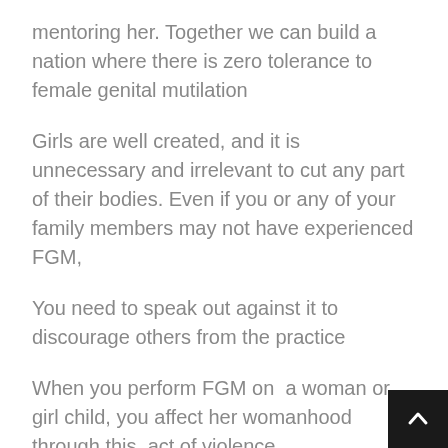mentoring her. Together we can build a nation where there is zero tolerance to female genital mutilation
Girls are well created, and it is unnecessary and irrelevant to cut any part of their bodies. Even if you or any of your family members may not have experienced FGM,
You need to speak out against it to discourage others from the practice
When you perform FGM on  a woman or girl child, you affect her womanhood through this  act of violence
As introduced earlier FGM is an act of violence against girls and women, according to the Violence Against